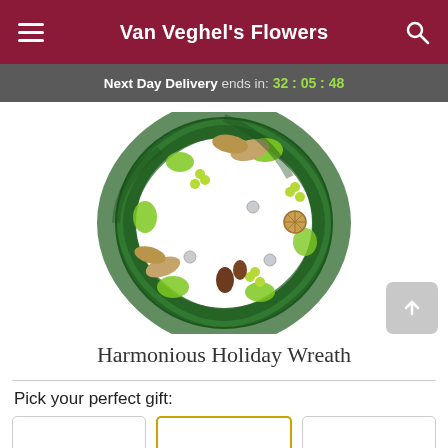Van Veghel's Flowers
Next Day Delivery ends in: 32 : 05 : 48
[Figure (photo): A round holiday wreath made of evergreen branches, decorated with green moss balls, yellow-green berries, silver ornaments, pine cones, dried citrus slices, and natural ribbon bows on a white background.]
Harmonious Holiday Wreath
Pick your perfect gift: